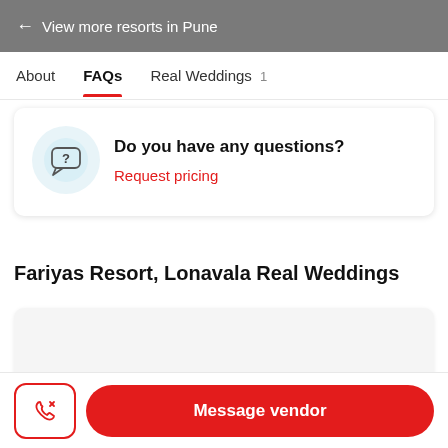← View more resorts in Pune
About  FAQs  Real Weddings 1
Do you have any questions?
Request pricing
Fariyas Resort, Lonavala Real Weddings
Message vendor